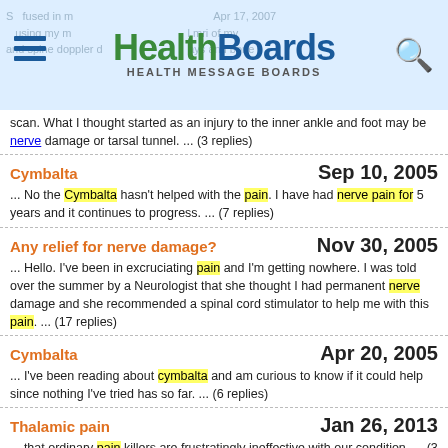HealthBoards - Health Message Boards
... What I thought started as an injury to the inner ankle and foot may be nerve damage or tarsal tunnel. ... (3 replies)
Cymbalta — Sep 10, 2005
... No the Cymbalta hasn't helped with the pain. I have had nerve pain for 5 years and it continues to progress. ... (7 replies)
Any relief for nerve damage? — Nov 30, 2005
... Hello. I've been in excruciating pain and I'm getting nowhere. I was told over the summer by a Neurologist that she thought I had permanent nerve damage and she recommended a spinal cord stimulator to help me with this pain. ... (17 replies)
Cymbalta — Apr 20, 2005
... I've been reading about cymbalta and am curious to know if it could help since nothing I've tried has so far. ... (6 replies)
Thalamic pain — Jan 26, 2013
... that ordinary pain killers are frustratingly ineffective with our condition. ... (3 replies)
Instead Of Neurontin?? — May 8, 2005